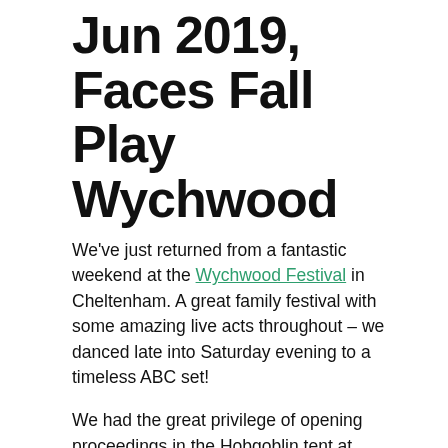Jun 2019, Faces Fall Play Wychwood
We've just returned from a fantastic weekend at the Wychwood Festival in Cheltenham. A great family festival with some amazing live acts throughout – we danced late into Saturday evening to a timeless ABC set!
We had the great privilege of opening proceedings in the Hobgoblin tent at lunchtime on Sunday and with a perfectly timed deluge of rain we had a fantastic audience for the show!